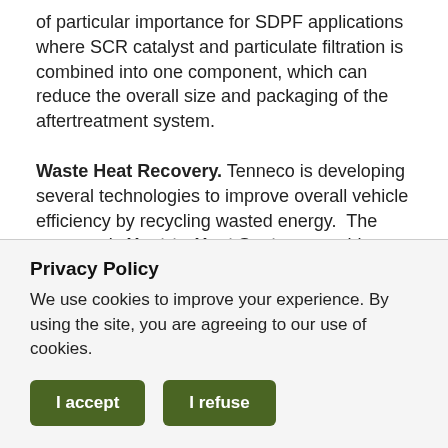of particular importance for SDPF applications where SCR catalyst and particulate filtration is combined into one component, which can reduce the overall size and packaging of the aftertreatment system. Waste Heat Recovery. Tenneco is developing several technologies to improve overall vehicle efficiency by recycling wasted energy. The company's Heat-to-Heat Systems enable reduced fuel consumption by transferring exhaust heat to fluids of the powertrain system, allowing for quicker vehicle warm-ups. The company's Thermoelectric Generator (TEG) solution enables the conversion of wasted exhaust heat to electrical energy
Privacy Policy
We use cookies to improve your experience. By using the site, you are agreeing to our use of cookies.